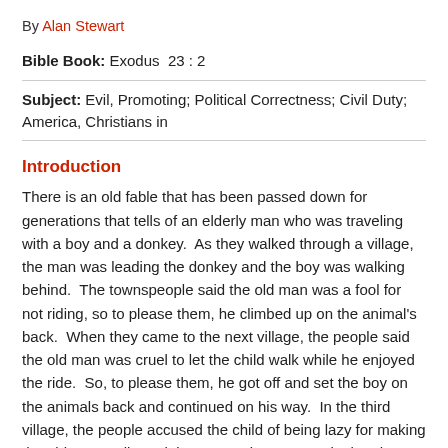By Alan Stewart
Bible Book: Exodus  23 : 2
Subject: Evil, Promoting; Political Correctness; Civil Duty; America, Christians in
Introduction
There is an old fable that has been passed down for generations that tells of an elderly man who was traveling with a boy and a donkey.  As they walked through a village, the man was leading the donkey and the boy was walking behind.  The townspeople said the old man was a fool for not riding, so to please them, he climbed up on the animal's back.  When they came to the next village, the people said the old man was cruel to let the child walk while he enjoyed the ride.  So, to please them, he got off and set the boy on the animals back and continued on his way.  In the third village, the people accused the child of being lazy for making the old man walk, and the suggestion was made that they both ride.